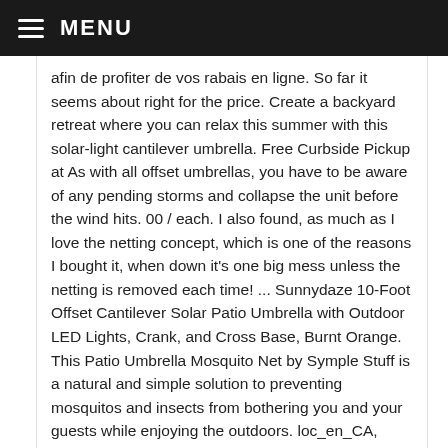MENU
afin de profiter de vos rabais en ligne. So far it seems about right for the price. Create a backyard retreat where you can relax this summer with this solar-light cantilever umbrella. Free Curbside Pickup at As with all offset umbrellas, you have to be aware of any pending storms and collapse the unit before the wind hits. 00 / each. I also found, as much as I love the netting concept, which is one of the reasons I bought it, when down it’s one big mess unless the netting is removed each time! ... Sunnydaze 10-Foot Offset Cantilever Solar Patio Umbrella with Outdoor LED Lights, Crank, and Cross Base, Burnt Orange. This Patio Umbrella Mosquito Net by Symple Stuff is a natural and simple solution to preventing mosquitos and insects from bothering you and your guests while enjoying the outdoors. loc_en_CA, sid_77735146, prod, sort_[SortEntry(order=LAST_APPROVED_ANSWER_SUBMISSION_TI direction=DESCENDING)], loc_en_CA, sid_77735146, prod, sort_[SortEntry(order=RELEVANCE, direction=DESCENDING)]. Overall: 144" W x 144" D; Overall Product Weight: 10lb. CANVAS Patio Umbrella Netting is for use on umbrellas 7', 8', or 9' (84, 96